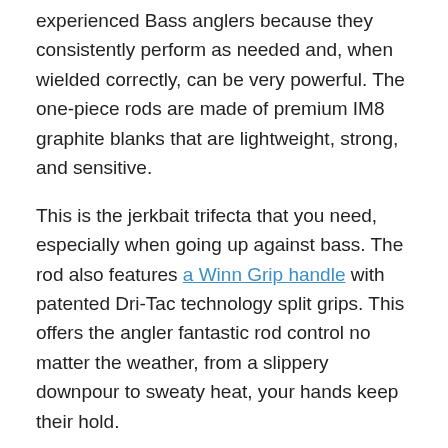experienced Bass anglers because they consistently perform as needed and, when wielded correctly, can be very powerful. The one-piece rods are made of premium IM8 graphite blanks that are lightweight, strong, and sensitive.
This is the jerkbait trifecta that you need, especially when going up against bass. The rod also features a Winn Grip handle with patented Dri-Tac technology split grips. This offers the angler fantastic rod control no matter the weather, from a slippery downpour to sweaty heat, your hands keep their hold.
The rod guides are made with American Tackle's MicroWave guide system. This design streamlines your line flow and drastically cuts down on wind knots. You can expect improved accuracy with your casting and even longer casting distances. The first guide functions as a funnel channels the line perfectly into all of the following guides.